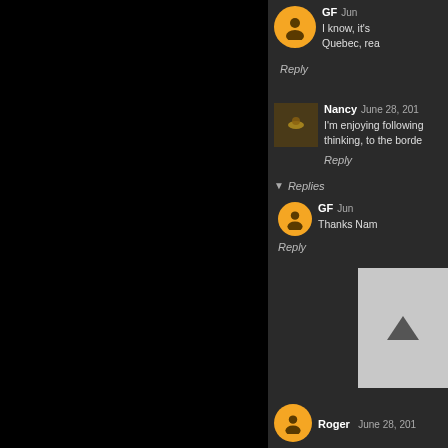GF  Jun
I know, it's Quebec, rea
Reply
Nancy  June 28, 201
I'm enjoying following thinking, to the borde
Reply
Replies
GF  Jun
Thanks Nam
Reply
Roger  June 28, 201